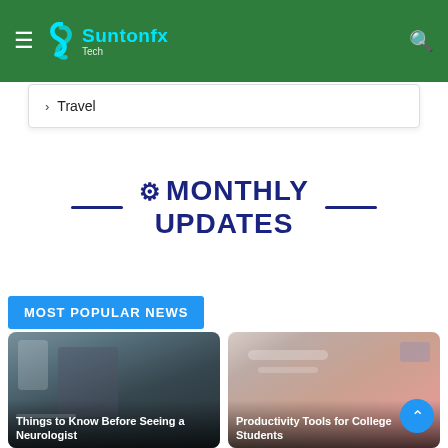Suntonfx — Tech navigation header with hamburger menu and search icon
› Travel
⚙ MONTHLY UPDATES
MOST POPULAR NEWS
[Figure (photo): Doctor in white coat with stethoscope reviewing an MRI scan, dark medical background]
Things to Know Before Seeing a Neurologist
[Figure (photo): Young woman in red sweater lying on floor with laptop, studying]
Productivity Tools for College Students